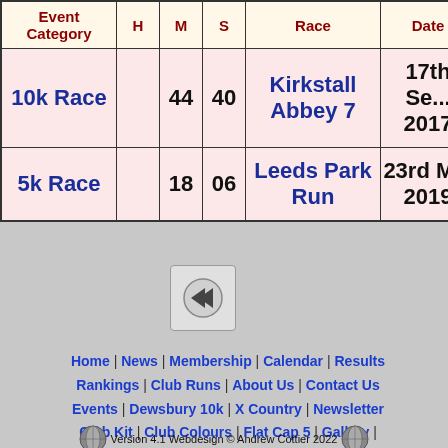| Event Category | H | M | S | Race | Date |
| --- | --- | --- | --- | --- | --- |
| 10k Race |  | 44 | 40 | Kirkstall Abbey 7 | 17th Se... 2017 |
| 5k Race |  | 18 | 06 | Leeds Park Run | 23rd M... 2019 |
[Figure (other): Back/previous navigation button with rewind arrow icon]
Home | News | Membership | Calendar | Results | Rankings | Club Runs | About Us | Contact Us | Events | Dewsbury 10k | X Country | Newsletter | Club Kit | Club Colours | Flat Cap 5 | Gallery | Profiles | Bob Graham Round
Version 4.1 Webdesign © Andrew Cottier 2022